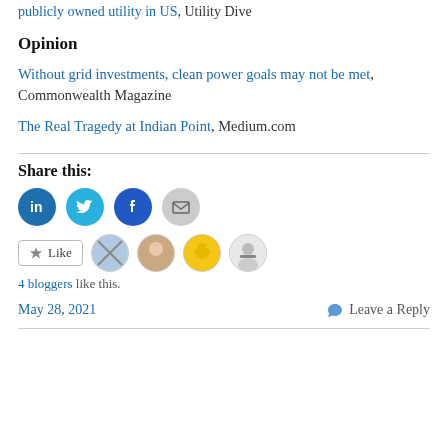publicly owned utility in US, Utility Dive
Opinion
Without grid investments, clean power goals may not be met, Commonwealth Magazine
The Real Tragedy at Indian Point, Medium.com
Share this:
[Figure (infographic): Social share buttons: LinkedIn (blue), Twitter (blue), Facebook (blue), Email (grey)]
[Figure (infographic): Like button and 4 blogger avatars]
4 bloggers like this.
May 28, 2021   Leave a Reply